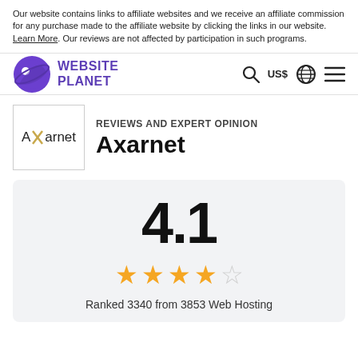Our website contains links to affiliate websites and we receive an affiliate commission for any purchase made to the affiliate website by clicking the links in our website. Learn More. Our reviews are not affected by participation in such programs.
[Figure (logo): Website Planet logo with purple planet icon and text WEBSITE PLANET, plus navigation icons for search, US$, globe, and menu]
REVIEWS AND EXPERT OPINION
Axarnet
4.1
[Figure (infographic): 4 filled gold stars and 1 empty star rating display]
Ranked 3340 from 3853 Web Hosting